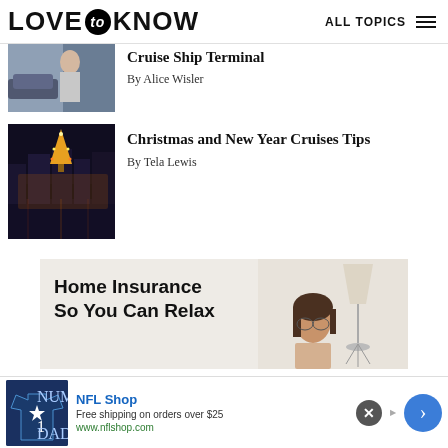LOVE to KNOW | ALL TOPICS
Cruise Ship Terminal
By Alice Wisler
[Figure (photo): Woman looking at phone near cars]
Christmas and New Year Cruises Tips
By Tela Lewis
[Figure (photo): City waterfront at night with Christmas tree lights]
[Figure (other): Advertisement banner: Home Insurance So You Can Relax, showing a woman and a lamp]
[Figure (other): Bottom ad bar: NFL Shop - Free shipping on orders over $25 - www.nflshop.com]